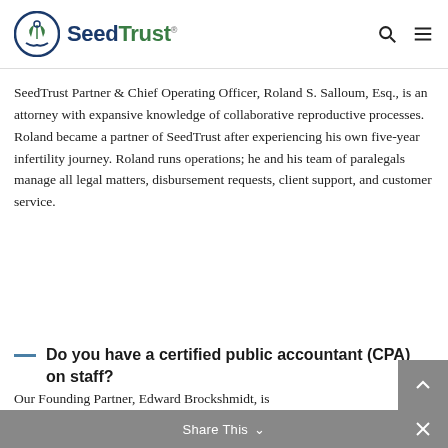SeedTrust
SeedTrust Partner & Chief Operating Officer, Roland S. Salloum, Esq., is an attorney with expansive knowledge of collaborative reproductive processes. Roland became a partner of SeedTrust after experiencing his own five-year infertility journey. Roland runs operations; he and his team of paralegals manage all legal matters, disbursement requests, client support, and customer service.
Do you have a certified public accountant (CPA) on staff?
Our Founding Partner, Edward Brockshmidt, is